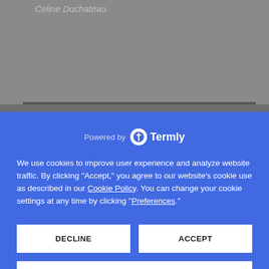Celine Duchateau
[Figure (screenshot): Cookie consent modal overlay from Termly on a website. Blue modal with 'Powered by Termly' header, cookie policy text, DECLINE and ACCEPT buttons, and PREFERENCES button. Background shows partially obscured webpage with flags and Calendly widget.]
Powered by Termly
We use cookies to improve user experience and analyze website traffic. By clicking "Accept," you agree to our website's cookie use as described in our Cookie Policy. You can change your cookie settings at any time by clicking "Preferences."
DECLINE
ACCEPT
PREFERENCES
Required: Please enter your email, so we can follow up with you.
Subject
powered by Calendly